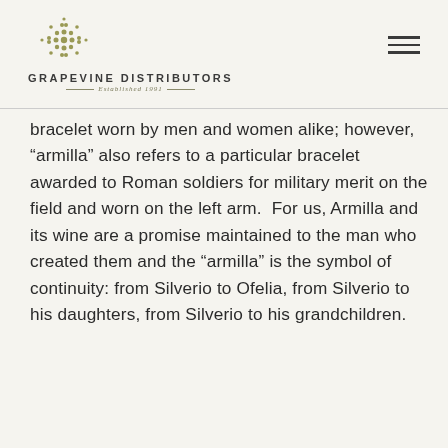GRAPEVINE DISTRIBUTORS — Established 1991
bracelet worn by men and women alike; however, “armilla” also refers to a particular bracelet awarded to Roman soldiers for military merit on the field and worn on the left arm. For us, Armilla and its wine are a promise maintained to the man who created them and the “armilla” is the symbol of continuity: from Silverio to Ofelia, from Silverio to his daughters, from Silverio to his grandchildren.